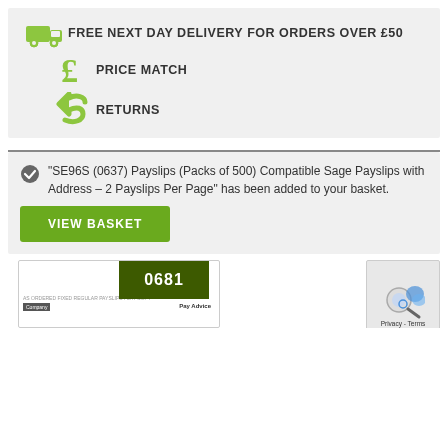[Figure (infographic): Green delivery truck icon with text FREE NEXT DAY DELIVERY for orders over £50, green pound sign icon with text PRICE MATCH, green return arrow icon with text RETURNS]
"SE96S (0637) Payslips (Packs of 500) Compatible Sage Payslips with Address – 2 Payslips Per Page" has been added to your basket.
VIEW BASKET
[Figure (screenshot): Partial screenshot of a payslip with badge number 0681, company field, and Pay Advice label. A privacy/terms overlay appears on the right.]